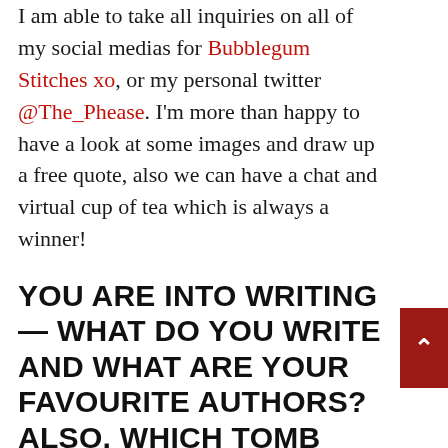I am able to take all inquiries on all of my social medias for Bubblegum Stitches xo, or my personal twitter @The_Phease. I'm more than happy to have a look at some images and draw up a free quote, also we can have a chat and virtual cup of tea which is always a winner!
YOU ARE INTO WRITING — WHAT DO YOU WRITE AND WHAT ARE YOUR FAVOURITE AUTHORS? ALSO, WHICH TOMB RAIDER